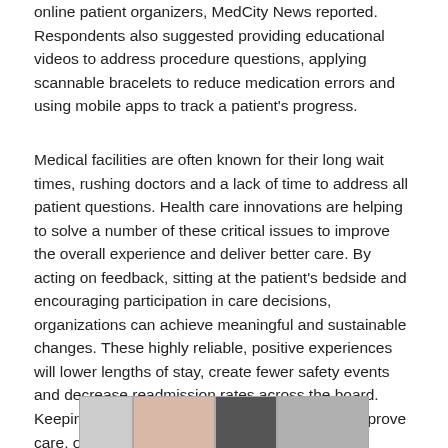online patient organizers, MedCity News reported. Respondents also suggested providing educational videos to address procedure questions, applying scannable bracelets to reduce medication errors and using mobile apps to track a patient's progress.
Medical facilities are often known for their long wait times, rushing doctors and a lack of time to address all patient questions. Health care innovations are helping to solve a number of these critical issues to improve the overall experience and deliver better care. By acting on feedback, sitting at the patient's bedside and encouraging participation in care decisions, organizations can achieve meaningful and sustainable changes. These highly reliable, positive experiences will lower lengths of stay, create fewer safety events and decrease readmission rates across the board. Keeping up with these experience metrics will improve care, outcomes and experience.
[Figure (photo): A partial photo strip showing multiple cropped images at the bottom of the page]